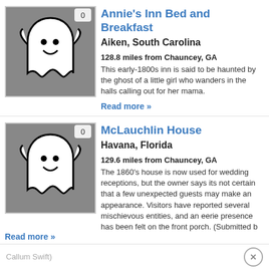[Figure (illustration): Ghost illustration on gray background with badge showing 0]
Annie's Inn Bed and Breakfast
Aiken, South Carolina
128.8 miles from Chauncey, GA
This early-1800s inn is said to be haunted by the ghost of a little girl who wanders in the halls calling out for her mama.
Read more »
[Figure (illustration): Ghost illustration on gray background with badge showing 0]
McLauchlin House
Havana, Florida
129.6 miles from Chauncey, GA
The 1860's house is now used for wedding receptions, but the owner says its not certain that a few unexpected guests may make an appearance. Visitors have reported several mischievous entities, and an eerie presence has been felt on the front porch. (Submitted b
Callum Swift)
Read more »